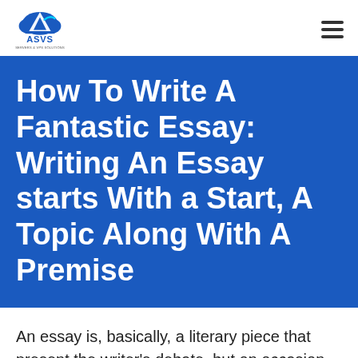ASVS
How To Write A Fantastic Essay: Writing An Essay starts With a Start, A Topic Along With A Premise
An essay is, basically, a literary piece that present the writer's debate, but on occasion the definition is somewhat obscure, often overlapping with that of an article, a pamphlet, a short story and that